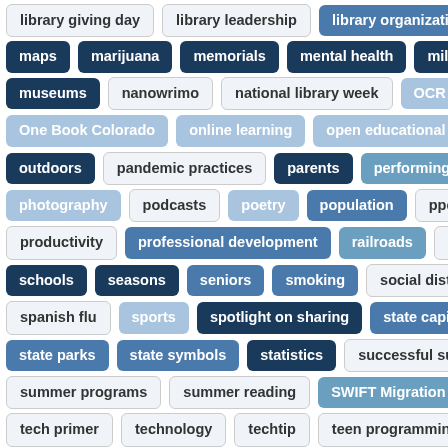library giving day
library leadership
library organizations
lifelong le…
maps
marijuana
memorials
mental health
military/veterans
museums
nanowrimo
national library week
OCR correction
OER
One Book Colorado
online learning
open educational resources
outdoors
pandemic practices
parents
performing arts
pets
photography
podcasts
poetry
population
ppc
primary source…
productivity
professional development
railroads
Read to the Childr…
schools
seasons
seniors
smoking
social distancing
social med…
spanish flu
sports
spotlight on sharing
state capitol
state grants f…
state parks
state symbols
statistics
successful supervision
summ…
summer programs
summer reading
SWIFT Migration
take & make
tech primer
technology
techtip
teen programming
teen video ch…
teens
the decade that was
time machine tuesday
topics in history
touring colorado's collections
tourism
transportation
Trustee Co…